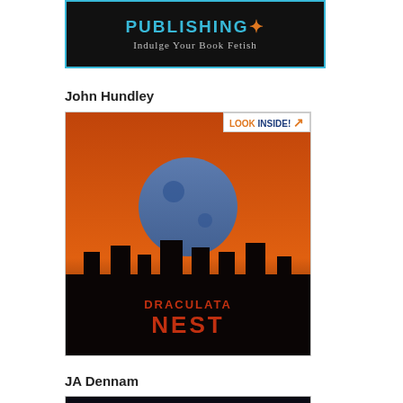[Figure (illustration): Publishing logo banner: dark background with 'PUBLISHING' in blue and orange letters, subtitle 'Indulge Your Book Fetish' in silver/gray text]
John Hundley
[Figure (photo): Book cover for 'Draculata Nest' by John Hundley with 'LOOK INSIDE!' badge. Dark fantasy cover showing a large moon over a city with red/orange sky. Book title in red/orange letters at the bottom.]
JA Dennam
[Figure (photo): Book cover for J.A. Dennam book titled 'TRUTH AND...' (partially visible). Dark cover showing a figure holding a pole/staff, with the author's name at the top in white.]
https://www...s=books&ie...
http://www.g...search_vers...
http://paullo...
http://www.b...
[Figure (photo): Outdoor photo partially visible on right side: light blue sky at top, below that a wooden post or pier in foreground with background scenery. Partially cropped.]
AUTHOR P...